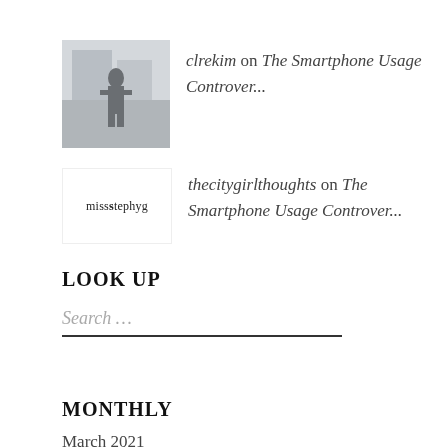clrekim on The Smartphone Usage Controver...
thecitygirlthoughts on The Smartphone Usage Controver...
LOOK UP
Search ...
MONTHLY
March 2021